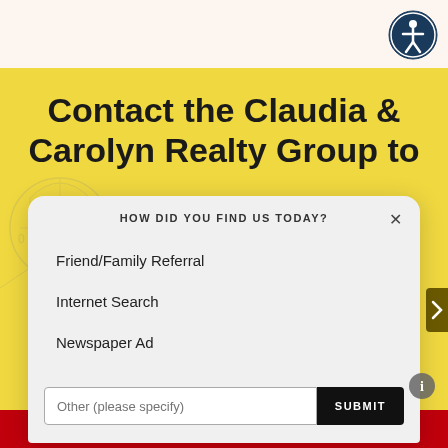[Figure (logo): Circular accessibility icon with person figure in dark blue/navy circle, top right of page]
Contact the Claudia & Carolyn Realty Group to
HOW DID YOU FIND US TODAY?
Friend/Family Referral
Internet Search
Newspaper Ad
Other (please specify)
SUBMIT